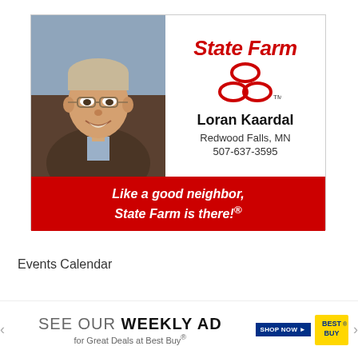[Figure (illustration): State Farm insurance advertisement featuring a photo of agent Loran Kaardal on the left, State Farm logo and agent contact information on the right, and red banner with slogan at bottom.]
Events Calendar
[Figure (illustration): Best Buy weekly ad banner with left/right arrows, 'SEE OUR WEEKLY AD for Great Deals at Best Buy®', SHOP NOW button, and Best Buy logo.]